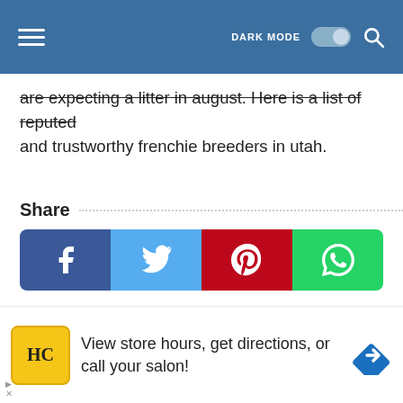DARK MODE [toggle] [search]
are expecting a litter in august. Here is a list of reputed and trustworthy frenchie breeders in utah.
Share
[Figure (infographic): Social share buttons: Facebook (dark blue), Twitter (light blue), Pinterest (red), WhatsApp (green)]
You may like these posts
[Figure (photo): Two gray placeholder image thumbnails side by side]
[Figure (infographic): Advertisement banner: HC logo in yellow, text 'View store hours, get directions, or call your salon!', blue diamond direction arrow icon]